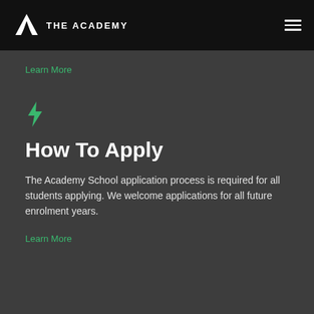[Figure (logo): The Academy logo with white triangular A icon and 'THE ACADEMY' text in white on black navigation bar]
Learn More
[Figure (other): Green lightning bolt icon]
How To Apply
The Academy School application process is required for all students applying. We welcome applications for all future enrolment years.
Learn More